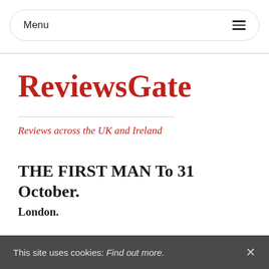Menu
ReviewsGate
Reviews across the UK and Ireland
THE FIRST MAN To 31 October.
London.
THE FIRST MAN
by Eugene O'Neill
This site uses cookies: Find out more.